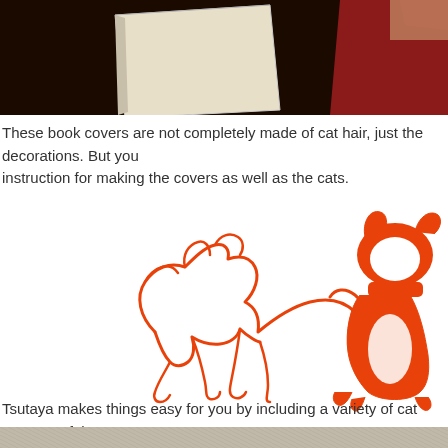[Figure (photo): Photo showing book covers made with cat hair decorations on a dark background, including a cream/beige book cover and a dark red/maroon book cover]
These book covers are not completely made of cat hair, just the decorations. But you instruction for making the covers as well as the cats.
[Figure (illustration): Two orange/red line drawings of cats: one outlined cat walking with tail raised, one more filled/painted cat sitting facing away]
Tsutaya makes things easy for you by including a variety of cat patterns of the prope
[Figure (photo): Partial view of a light-colored textured surface at the bottom of the page]